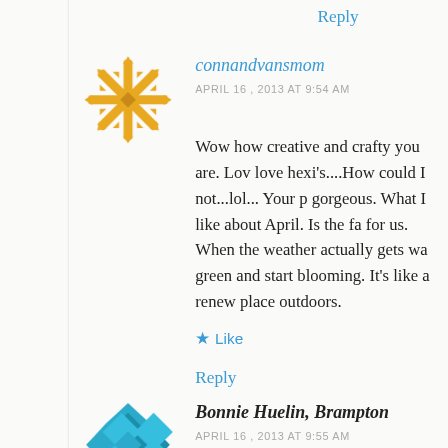Reply
[Figure (illustration): Golden/yellow decorative snowflake-like avatar icon for user connandvansmom]
connandvansmom
APRIL 16 , 2013 AT 9:54 AM
Wow how creative and crafty you are. Love hexi's....How could I not...lol... Your p gorgeous. What I like about April. Is the fa for us. When the weather actually gets wa green and start blooming. It's like a renew place outdoors.
Like
Reply
[Figure (illustration): Teal/turquoise geometric diamond pattern avatar icon for user Bonnie Huelin, Brampton]
Bonnie Huelin, Brampton
APRIL 16 , 2013 AT 9:55 AM
April showers bring beautiful May flower...